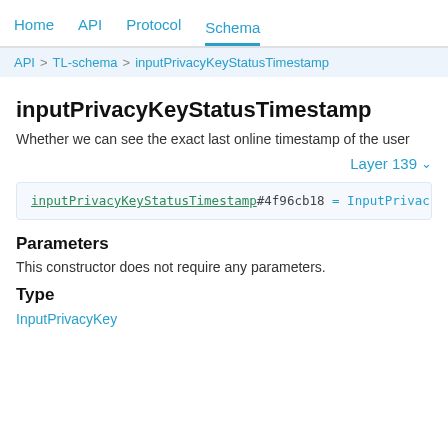Home  API  Protocol  Schema
API > TL-schema > inputPrivacyKeyStatusTimestamp
inputPrivacyKeyStatusTimestamp
Whether we can see the exact last online timestamp of the user
Layer 139
inputPrivacyKeyStatusTimestamp#4f96cb18 = InputPrivacyKey
Parameters
This constructor does not require any parameters.
Type
InputPrivacyKey